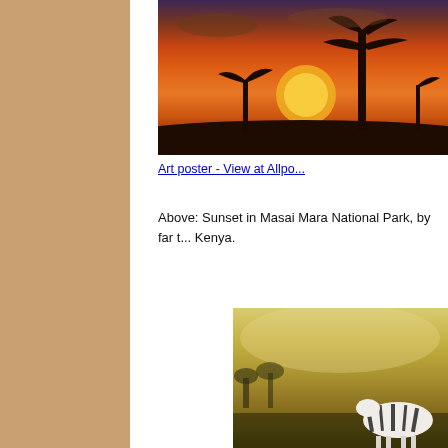[Figure (photo): Sunset in Masai Mara National Park, Kenya. Silhouette of acacia trees against a vivid orange and red sunset sky.]
Art poster - View at Allpo...
Above: Sunset in Masai Mara National Park, by far t... Kenya.
[Figure (photo): Zebra in Masai Mara, Kenya. A zebra visible in the foreground against a hazy golden savanna landscape.]